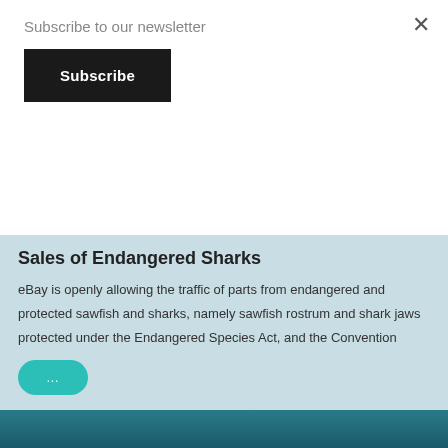Subscribe to our newsletter
Subscribe
Sales of Endangered Sharks
eBay is openly allowing the traffic of parts from endangered and protected sawfish and sharks, namely sawfish rostrum and shark jaws protected under the Endangered Species Act, and the Convention
...
URGENT! Protect Kona Reefs- Send a Letter to BLNR
There is an urgent opportunity to join us in taking action today to protect Hawai'ian reefs. Send a letter to BLNR today to ban the collection fo reef fish for aquariums.